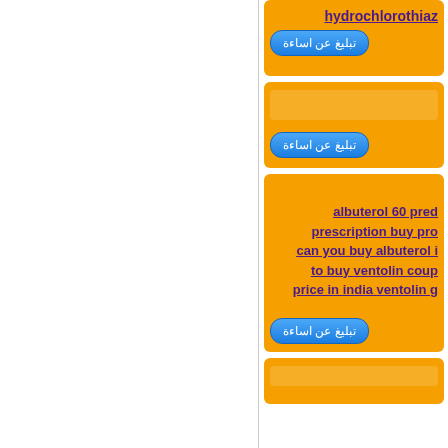hydrochlorothia...
تبليغ عن اساءة
تبليغ عن اساءة
albuterol 60 prec... prescription buy pro... can you buy albuterol i... to buy ventolin coup... price in india ventolin g...
تبليغ عن اساءة